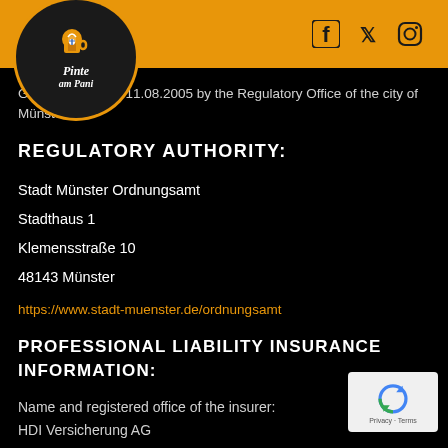Pinte am Pani — social media icons (Facebook, Twitter, Instagram)
Ge... on 11.08.2005 by the Regulatory Office of the city of Münster.
REGULATORY AUTHORITY:
Stadt Münster Ordnungsamt
Stadthaus 1
Klemensstraße 10
48143 Münster
https://www.stadt-muenster.de/ordnungsamt
PROFESSIONAL LIABILITY INSURANCE INFORMATION:
Name and registered office of the insurer:
HDI Versicherung AG